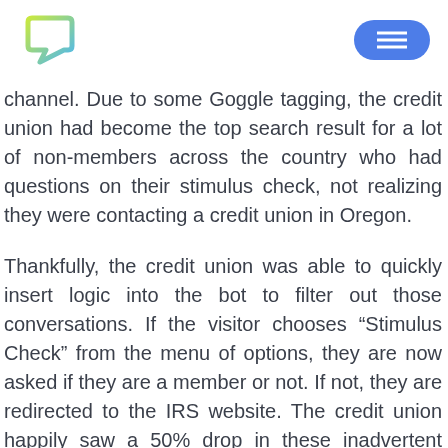[Logo] [Menu button]
channel. Due to some Goggle tagging, the credit union had become the top search result for a lot of non-members across the country who had questions on their stimulus check, not realizing they were contacting a credit union in Oregon.
Thankfully, the credit union was able to quickly insert logic into the bot to filter out those conversations. If the visitor chooses “Stimulus Check” from the menu of options, they are now asked if they are a member or not. If not, they are redirected to the IRS website. The credit union happily saw a 50% drop in these inadvertent messages after implementing this change. April says, “We’re able to learn on the fly and update